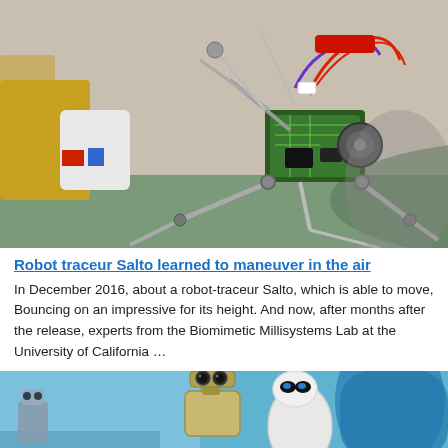[Figure (photo): Close-up photograph of the Salto robot, a small mechanical robot with metal legs and circuit board, standing on a surface in a lab environment.]
Robot traceur Salto learned to maneuver in the air
In December 2016, about a robot-traceur Salto, which is able to move, Bouncing on an impressive for its height. And now, after months after the release, experts from the Biomimetic Millisystems Lab at the University of California …
[Figure (photo): Photograph showing WALL-E robot characters from a movie or product, with blue and robotic figures visible.]